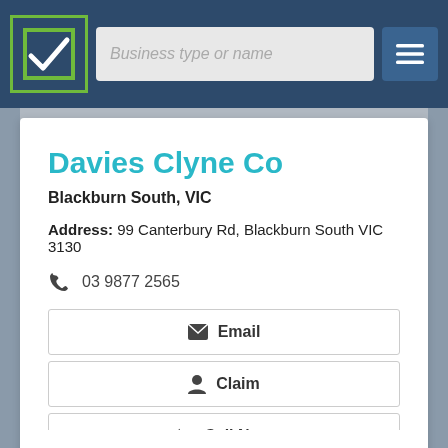Business type or name
Davies Clyne Co
Blackburn South, VIC
Address: 99 Canterbury Rd, Blackburn South VIC 3130
03 9877 2565
Email
Claim
Call Now
View Details